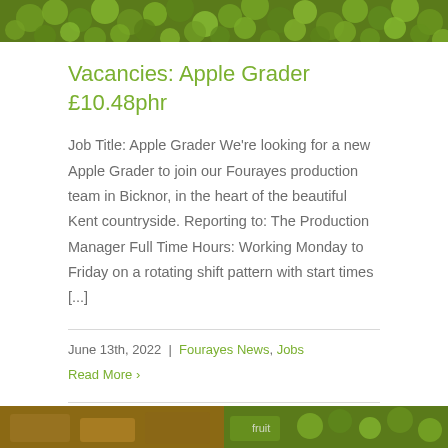[Figure (photo): Close-up photo of green apples on a tree, filling the top banner of the page]
Vacancies: Apple Grader £10.48phr
Job Title: Apple Grader We're looking for a new Apple Grader to join our Fourayes production team in Bicknor, in the heart of the beautiful Kent countryside. Reporting to: The Production Manager Full Time Hours: Working Monday to Friday on a rotating shift pattern with start times [...]
June 13th, 2022  |  Fourayes News, Jobs
Read More ›
[Figure (photo): Partial photo visible at the bottom of the page, appears to show fruit/produce boxes]